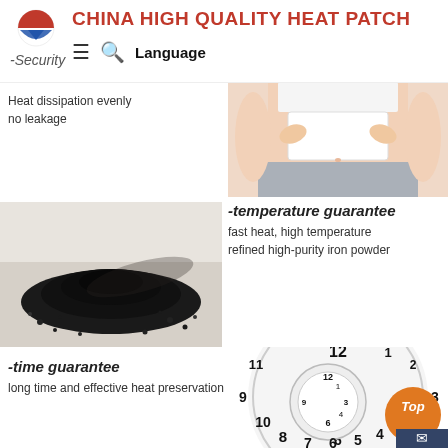CHINA HIGH QUALITY HEAT PATCH
-Security
Heat dissipation evenly
no leakage
[Figure (photo): Person applying a white heat patch to their abdomen/waist area]
[Figure (photo): Pile of black iron powder on a light surface]
-temperature guarantee
fast heat, high temperature
refined high-purity iron powder
-time guarantee
long time and effective heat preservation
[Figure (photo): Spiral clock illustration showing time concept, with orange circular badge labeled Top and mail icon]